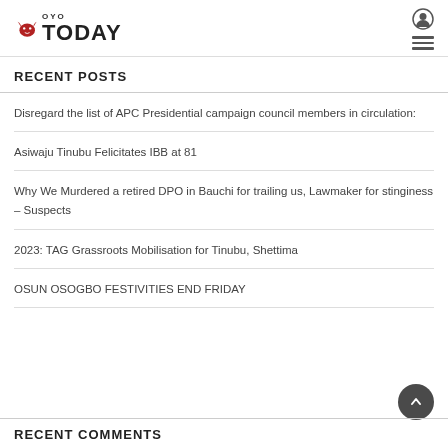Oyo Today
RECENT POSTS
Disregard the list of APC Presidential campaign council members in circulation:
Asiwaju Tinubu Felicitates IBB at 81
Why We Murdered a retired DPO in Bauchi for trailing us, Lawmaker for stinginess – Suspects
2023: TAG Grassroots Mobilisation for Tinubu, Shettima
OSUN OSOGBO FESTIVITIES END FRIDAY
RECENT COMMENTS